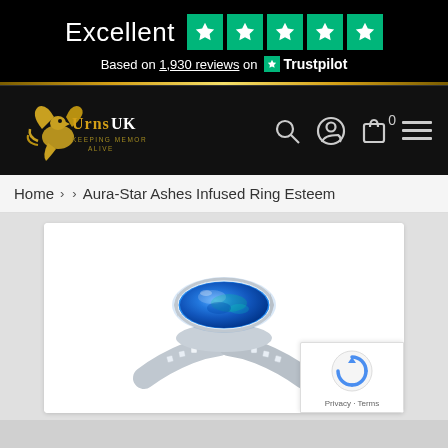[Figure (infographic): Trustpilot banner showing Excellent rating with 5 green stars and text 'Based on 1,930 reviews on Trustpilot']
[Figure (logo): Urns UK logo - gold griffin/eagle with text 'Urns UK Keeping Memories Alive' on black navigation bar with search, account, cart (0), and hamburger menu icons]
Home > > Aura-Star Ashes Infused Ring Esteem
[Figure (photo): Product photo of a silver ring with a marquise-cut blue opal stone set in a sterling silver bezel with diamond accents on the band, shown against a white background]